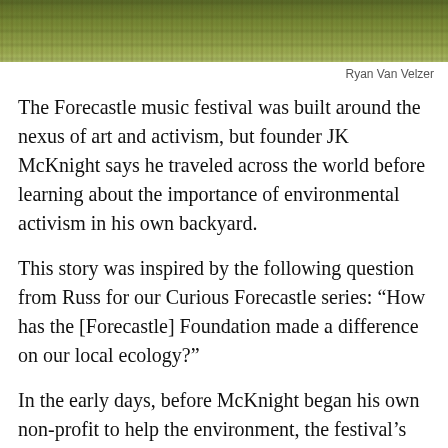[Figure (photo): Outdoor grass/lawn scene, partial view of a grassy field — top strip of image]
Ryan Van Velzer
The Forecastle music festival was built around the nexus of art and activism, but founder JK McKnight says he traveled across the world before learning about the importance of environmental activism in his own backyard.
This story was inspired by the following question from Russ for our Curious Forecastle series: “How has the [Forecastle] Foundation made a difference on our local ecology?”
In the early days, before McKnight began his own non-profit to help the environment, the festival’s activism was a term “loosely applied”, McKnight said.
“It really meant all sorts of social justice groups